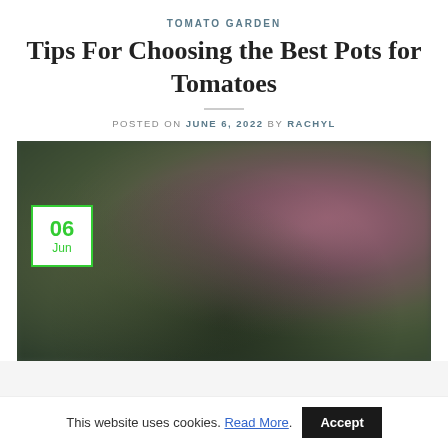TOMATO GARDEN
Tips For Choosing the Best Pots for Tomatoes
POSTED ON JUNE 6, 2022 BY RACHYL
[Figure (photo): Blurred garden photo showing a flower or vegetable plant with dark green leaves and a pinkish-purple bloom, with a date badge overlay showing 06 Jun in green on white]
This website uses cookies. Read More. Accept